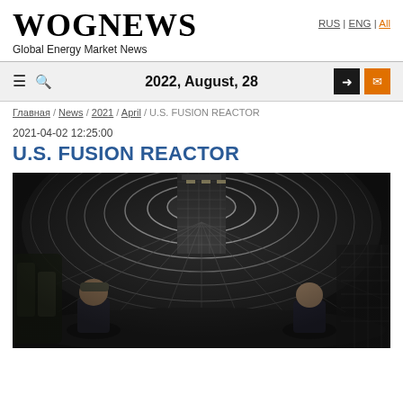WOGNEWS — Global Energy Market News
2022, August, 28
Главная / News / 2021 / April / U.S. FUSION REACTOR
2021-04-02 12:25:00
U.S. FUSION REACTOR
[Figure (photo): Interior of a fusion reactor tokamak chamber showing two people standing inside the large cylindrical tiled structure viewed from below with fish-eye perspective]